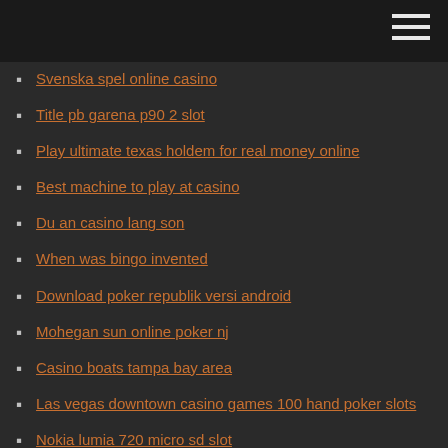Svenska spel online casino
Title pb garena p90 2 slot
Play ultimate texas holdem for real money online
Best machine to play at casino
Du an casino lang son
When was bingo invented
Download poker republik versi android
Mohegan sun online poker nj
Casino boats tampa bay area
Las vegas downtown casino games 100 hand poker slots
Nokia lumia 720 micro sd slot
Wheel of fortune game show logo
Poker chi vince scala o colore